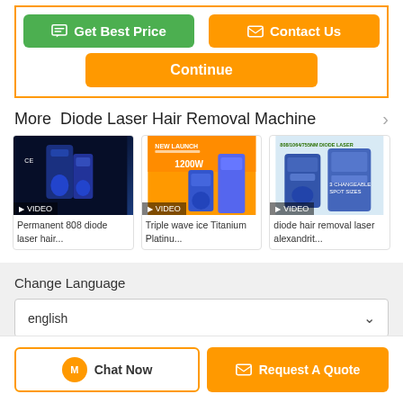[Figure (screenshot): Get Best Price and Contact Us buttons, with Continue button below]
More  Diode Laser Hair Removal Machine
[Figure (photo): Thumbnail of Permanent 808 diode laser hair removal machine with VIDEO badge]
Permanent 808 diode laser hair...
[Figure (photo): Thumbnail of Triple wave ice Titanium Platinum machine with VIDEO badge]
Triple wave ice Titanium Platinu...
[Figure (photo): Thumbnail of diode hair removal laser alexandrite machine with VIDEO badge]
diode hair removal laser alexandrit...
Change Language
english
[Figure (screenshot): Chat Now and Request A Quote buttons at bottom]